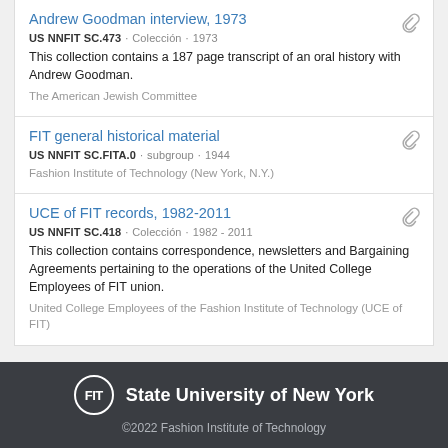Andrew Goodman interview, 1973
US NNFIT SC.473 · Colección · 1973
This collection contains a 187 page transcript of an oral history with Andrew Goodman.
The American Jewish Committee
FIT general historical material
US NNFIT SC.FITA.0 · subgroup · 1944
Fashion Institute of Technology (New York, N.Y.)
UCE of FIT records, 1982-2011
US NNFIT SC.418 · Colección · 1982 - 2011
This collection contains correspondence, newsletters and Bargaining Agreements pertaining to the operations of the United College Employees of FIT union.
United College Employees of the Fashion Institute of Technology (UCE of FIT)
FIT State University of New York ©2022 Fashion Institute of Technology